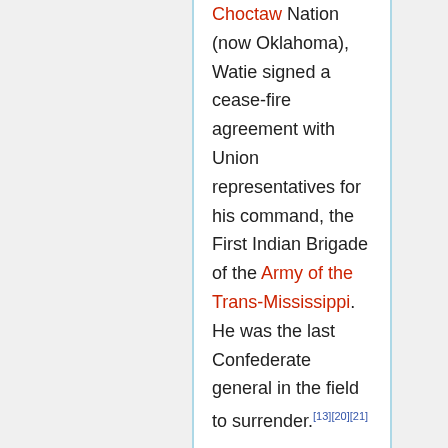Choctaw Nation (now Oklahoma), Watie signed a cease-fire agreement with Union representatives for his command, the First Indian Brigade of the Army of the Trans-Mississippi. He was the last Confederate general in the field to surrender.[13][20][21]

In September 1865, after his demobilization, Watie went to Texas to see his wife Sallie